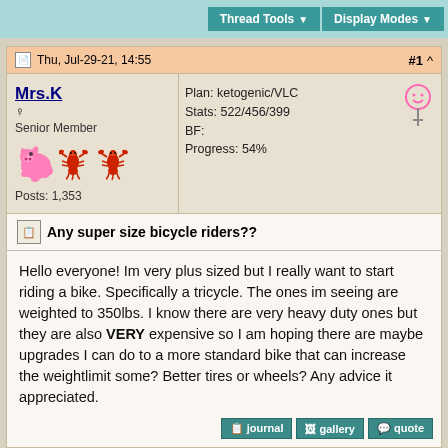Thread Tools  Display Modes
Thu, Jul-29-21, 14:55   #1 ^
Mrs.K ♀ Senior Member Posts: 1,353
Plan: ketogenic/VLC
Stats: 522/456/399
BF:
Progress: 54%
Any super size bicycle riders??
Hello everyone! Im very plus sized but I really want to start riding a bike. Specifically a tricycle. The ones im seeing are weighted to 350lbs. I know there are very heavy duty ones but they are also VERY expensive so I am hoping there are maybe upgrades I can do to a more standard bike that can increase the weightlimit some? Better tires or wheels? Any advice it appreciated.
Sponsored Links